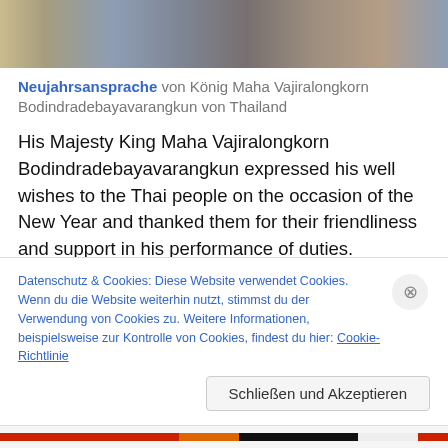[Figure (photo): Cropped photo of a person at a desk with items in background]
Neujahrsansprache von König Maha Vajiralongkorn Bodindradebayavarangkun von Thailand
His Majesty King Maha Vajiralongkorn Bodindradebayavarangkun expressed his well wishes to the Thai people on the occasion of the New Year and thanked them for their friendliness and support in his performance of duties.
In his New Year's message announced on Saturday, the
Datenschutz & Cookies: Diese Website verwendet Cookies. Wenn du die Website weiterhin nutzt, stimmst du der Verwendung von Cookies zu. Weitere Informationen, beispielsweise zur Kontrolle von Cookies, findest du hier: Cookie-Richtlinie
Schließen und Akzeptieren